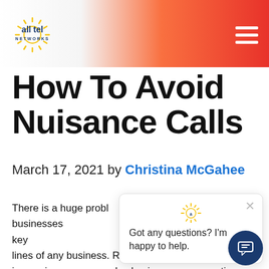all tel NETWORKS
How To Avoid Nuisance Calls
March 17, 2021 by Christina McGahee
There is a huge probl... lines of our businesses... calls. Let's face it, key... field phone calls are the front lines of any business. Robocalls are constantly increasing, every day businesses are wasting time and money answering these unwanted calls. With scammers on the rise and the volume of robocalls climbing
[Figure (screenshot): Chat popup widget with sun logo icon, close button, and text: Got any questions? I'm happy to help.]